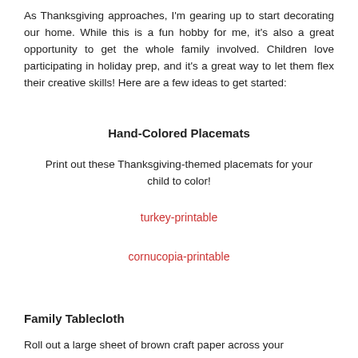As Thanksgiving approaches, I'm gearing up to start decorating our home. While this is a fun hobby for me, it's also a great opportunity to get the whole family involved. Children love participating in holiday prep, and it's a great way to let them flex their creative skills! Here are a few ideas to get started:
Hand-Colored Placemats
Print out these Thanksgiving-themed placemats for your child to color!
turkey-printable
cornucopia-printable
Family Tablecloth
Roll out a large sheet of brown craft paper across your